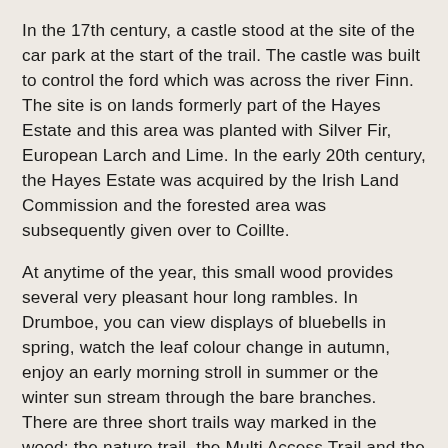In the 17th century, a castle stood at the site of the car park at the start of the trail. The castle was built to control the ford which was across the river Finn. The site is on lands formerly part of the Hayes Estate and this area was planted with Silver Fir, European Larch and Lime. In the early 20th century, the Hayes Estate was acquired by the Irish Land Commission and the forested area was subsequently given over to Coillte.
At anytime of the year, this small wood provides several very pleasant hour long rambles. In Drumboe, you can view displays of bluebells in spring, watch the leaf colour change in autumn, enjoy an early morning stroll in summer or the winter sun stream through the bare branches. There are three short trails way marked in the wood; the nature trail, the Multi Access Trail and the Drumboe Loop Trail.